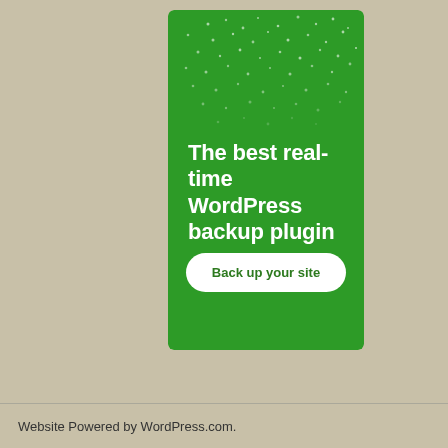[Figure (infographic): Green banner advertisement for a WordPress backup plugin. Dark green background with white dot pattern in upper area. White bold text reads 'The best real-time WordPress backup plugin'. A white rounded button at the bottom reads 'Back up your site'.]
Website Powered by WordPress.com.